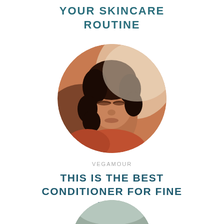YOUR SKINCARE ROUTINE
[Figure (photo): Circular cropped portrait photo of a woman with curly hair and closed eyes, warm orange/brown tones, studio lighting]
VEGAMOUR
THIS IS THE BEST CONDITIONER FOR FINE HAIR
[Figure (photo): Circular cropped photo showing hands near a dark surface, partial view, lower portion of page]